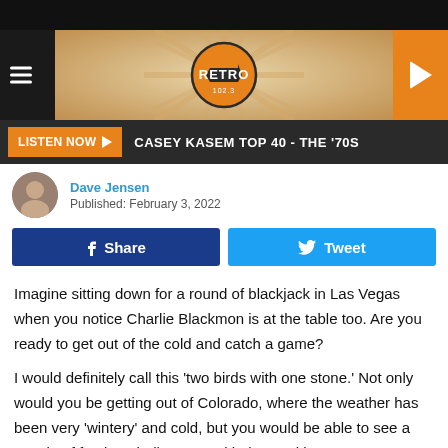[Figure (screenshot): Radio station website header banner with Retro logo, hamburger menu, orange sunburst background, and orange play button]
LISTEN NOW ▶   CASEY KASEM TOP 40 - THE '70S
Dave Jensen
Published: February 3, 2022
Share   Tweet
Imagine sitting down for a round of blackjack in Las Vegas when you notice Charlie Blackmon is at the table too. Are you ready to get out of the cold and catch a game?
I would definitely call this 'two birds with one stone.' Not only would you be getting out of Colorado, where the weather has been very 'wintery' and cold, but you would be able to see a couple of fun baseball games with the Rockies.